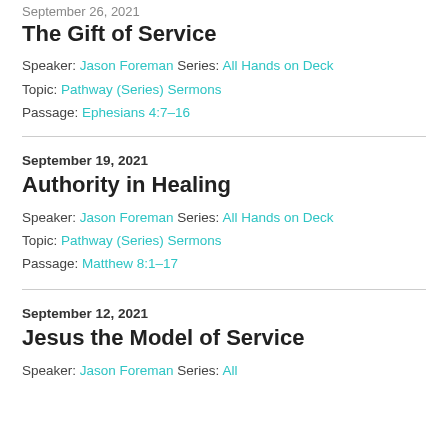September 26, 2021
The Gift of Service
Speaker: Jason Foreman Series: All Hands on Deck
Topic: Pathway (Series) Sermons
Passage: Ephesians 4:7–16
September 19, 2021
Authority in Healing
Speaker: Jason Foreman Series: All Hands on Deck
Topic: Pathway (Series) Sermons
Passage: Matthew 8:1–17
September 12, 2021
Jesus the Model of Service
Speaker: Jason Foreman Series: All